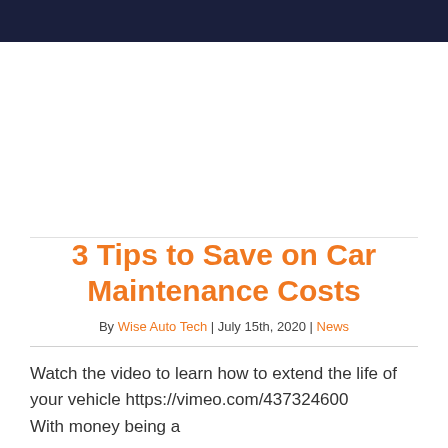[Figure (other): Advertisement or placeholder image area]
3 Tips to Save on Car Maintenance Costs
By Wise Auto Tech | July 15th, 2020 | News
Watch the video to learn how to extend the life of your vehicle https://vimeo.com/437324600

With money being a